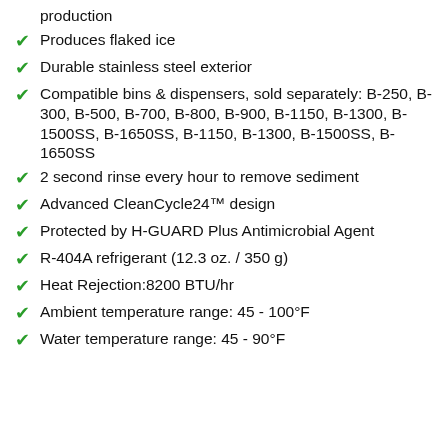production
Produces flaked ice
Durable stainless steel exterior
Compatible bins & dispensers, sold separately: B-250, B-300, B-500, B-700, B-800, B-900, B-1150, B-1300, B-1500SS, B-1650SS, B-1150, B-1300, B-1500SS, B-1650SS
2 second rinse every hour to remove sediment
Advanced CleanCycle24™ design
Protected by H-GUARD Plus Antimicrobial Agent
R-404A refrigerant (12.3 oz. / 350 g)
Heat Rejection:8200 BTU/hr
Ambient temperature range: 45 - 100°F
Water temperature range: 45 - 90°F